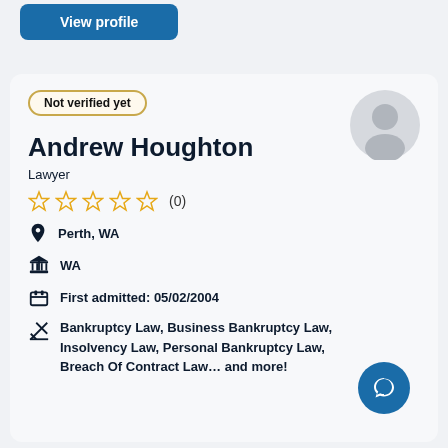[Figure (other): Blue 'View profile' button]
Not verified yet
[Figure (other): Grey silhouette avatar circle]
Andrew Houghton
Lawyer
☆☆☆☆☆ (0)
Perth, WA
WA
First admitted: 05/02/2004
Bankruptcy Law, Business Bankruptcy Law, Insolvency Law, Personal Bankruptcy Law, Breach Of Contract Law... and more!